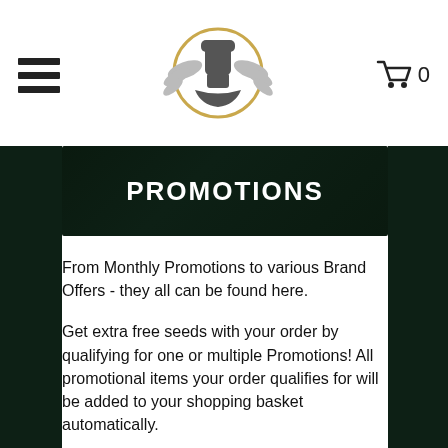Navigation header with hamburger menu, The Attitude Seed Bank logo, and shopping cart with 0 items
[Figure (illustration): Promotions banner with dark green cannabis leaf background and white bold uppercase text reading PROMOTIONS]
From Monthly Promotions to various Brand Offers - they all can be found here.
Get extra free seeds with your order by qualifying for one or multiple Promotions! All promotional items your order qualifies for will be added to your shopping basket automatically.